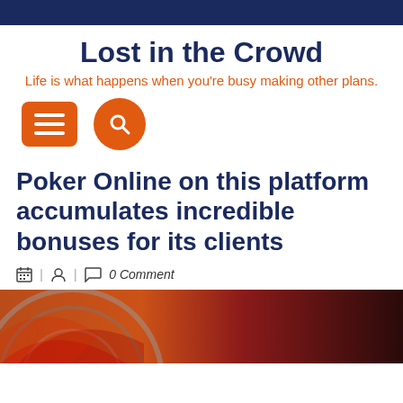Lost in the Crowd
Life is what happens when you're busy making other plans.
[Figure (other): Orange hamburger menu button and orange circular search button]
Poker Online on this platform accumulates incredible bonuses for its clients
0 Comment
[Figure (photo): Close-up photo of a roulette wheel with red and dark segments visible]